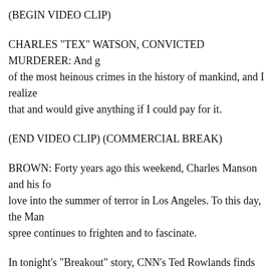(BEGIN VIDEO CLIP)
CHARLES "TEX" WATSON, CONVICTED MURDERER: And g of the most heinous crimes in the history of mankind, and I realize that and would give anything if I could pay for it.
(END VIDEO CLIP) (COMMERCIAL BREAK)
BROWN: Forty years ago this weekend, Charles Manson and his fo love into the summer of terror in Los Angeles. To this day, the Man spree continues to frighten and to fascinate.
In tonight's "Breakout" story, CNN's Ted Rowlands finds four of M the edge of old age, still in prison and forever haunted for what they
(BEGIN VIDEOTAPE)